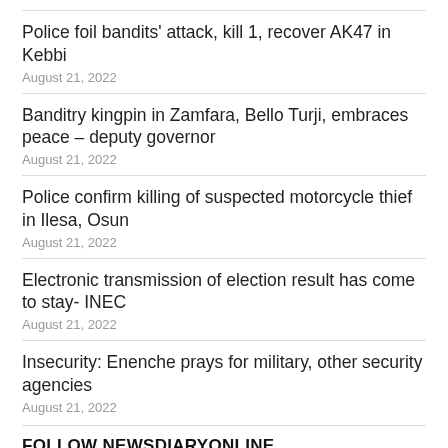Police foil bandits' attack, kill 1, recover AK47 in Kebbi
August 21, 2022
Banditry kingpin in Zamfara, Bello Turji, embraces peace – deputy governor
August 21, 2022
Police confirm killing of suspected motorcycle thief in Ilesa, Osun
August 21, 2022
Electronic transmission of election result has come to stay- INEC
August 21, 2022
Insecurity: Enenche prays for military, other security agencies
August 21, 2022
FOLLOW NEWSDIARYONLINE